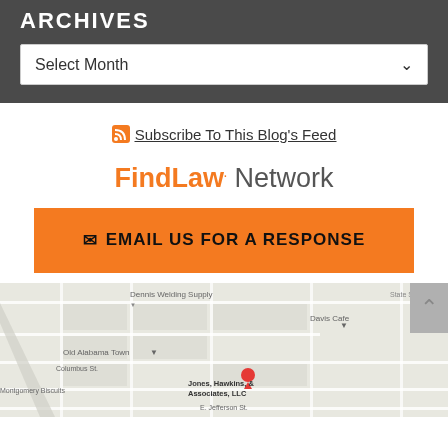ARCHIVES
Select Month
Subscribe To This Blog's Feed
FindLaw. Network
EMAIL US FOR A RESPONSE
[Figure (map): Google Maps showing location of Jones, Hawkins, & Associates, LLC in Montgomery, Alabama, with nearby landmarks including Dennis Welding Supply, Davis Cafe, Old Alabama Town, Oakwood Cemetery, Montgomery Police Department, and Montgomery Biscuits.]